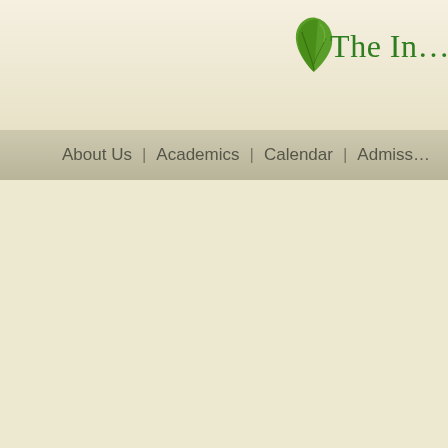[Figure (logo): Green leaf icon logo in upper right area]
The In…
About Us  |  Academics  |  Calendar  |  Admiss…
[Figure (photo): Outdoor photo showing green tree canopy from below, with a person visible at the right edge]